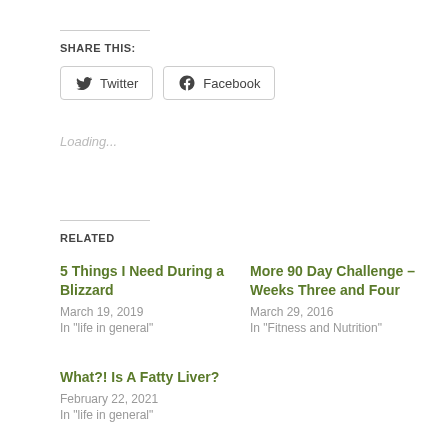SHARE THIS:
Twitter  Facebook
Loading...
RELATED
5 Things I Need During a Blizzard
March 19, 2019
In "life in general"
More 90 Day Challenge – Weeks Three and Four
March 29, 2016
In "Fitness and Nutrition"
What?! Is A Fatty Liver?
February 22, 2021
In "life in general"